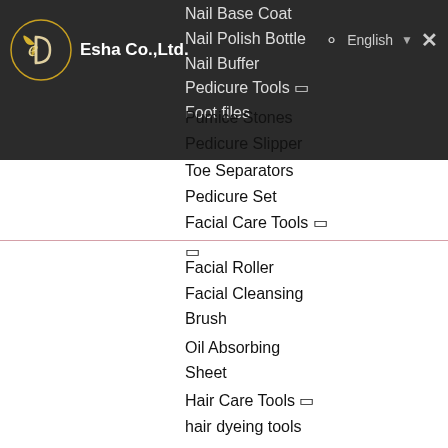Esha Co.,Ltd.
Nail Base Coat
Nail Polish Bottle
Nail Buffer
Pedicure Tools 🔽
Foot files
Pumice Stones
Pedicure Slipper
Toe Separators
Pedicure Set
Facial Care Tools 🔽
Facial Roller
Facial Cleansing Brush
Oil Absorbing Sheet
Hair Care Tools 🔽
hair dyeing tools
hair brush
hair comb
Hair Dyeing Bowl
hair dyeing tools
Hair Dyeing Brush
hair accessories
Hair Roller